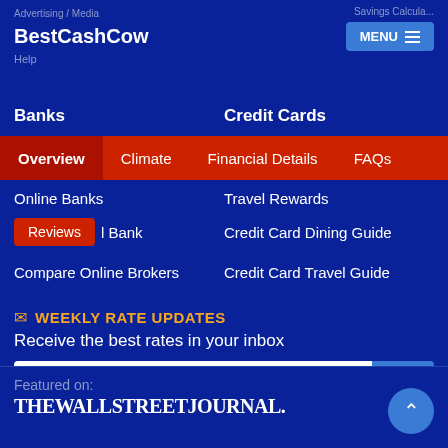Advertising / Media | Savings Calculator
BestCashCow
Help
Banks
Credit Cards
Overview | Climate | Financial Details | FAQs
Online Banks
Travel Rewards
Reviews | [Bank]
Credit Card Dining Guide
Compare Online Brokers
Credit Card Travel Guide
WEEKLY RATE UPDATES
Receive the best rates in your inbox
@your email address
Featured on:
THE WALL STREET JOURNAL.